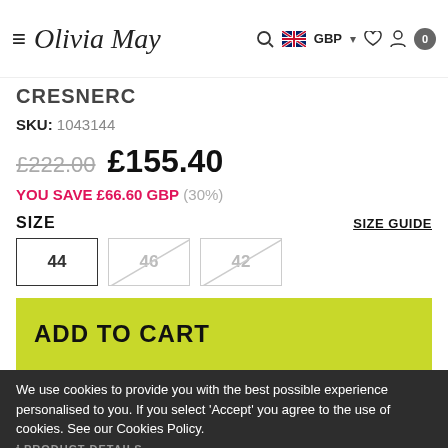Olivia May | GBP | Cart: 0
CRESNERC
SKU: 1043144
£222.00 £155.40
YOU SAVE £66.60 GBP (30%)
SIZE
SIZE GUIDE
44 46 42
ADD TO CART
ADD TO WISHLIST
We use cookies to provide you with the best possible experience personalised to you. If you select 'Accept' you agree to the use of cookies. See our Cookies Policy.
PRODUCT DETAILS
PRIVACY POLICY   ACCEPT ✔